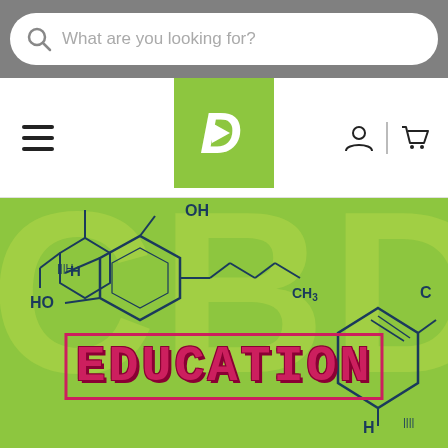[Figure (screenshot): Search bar with magnifying glass icon and placeholder text 'What are you looking for?' on a gray background]
[Figure (logo): Website navigation bar with hamburger menu, green square logo with stylized white D arrow, user icon, divider, and cart icon]
[Figure (illustration): CBD education banner with bright green background, large faded CBD text, chemical molecular structure diagrams of CBD/THC molecules, and bold pink/red 'EDUCATION' text with border]